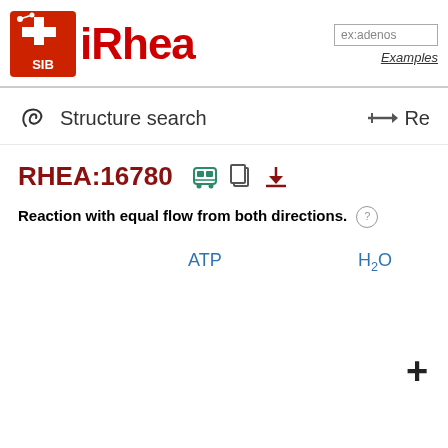[Figure (logo): SIB Swiss Institute of Bioinformatics logo (red square with white cross and molecule graphic) next to 'Rhea' text in red]
ex:adenos...
Examples
Structure search
Re
RHEA:16780
Reaction with equal flow from both directions.
ATP
H2O
+